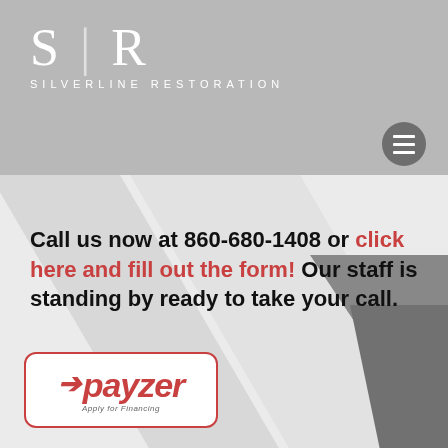[Figure (logo): Silverline Restoration logo with S|R monogram and company name in header]
Call us now at 860-680-1408 or click here and fill out the form! Our staff is standing by ready to take your call.
[Figure (logo): Payzer Apply for Financing logo in red border box at bottom left]